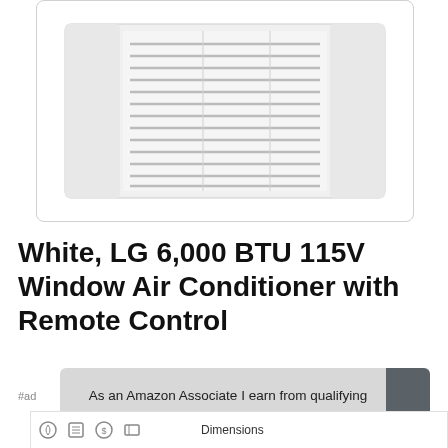[Figure (photo): Photo of a white LG window air conditioner unit showing the front grill with horizontal slats/louvers.]
White, LG 6,000 BTU 115V Window Air Conditioner with Remote Control
#ad
As an Amazon Associate I earn from qualifying purchases. This website uses the only necessary cookies to ensure you get the best experience on our website. More information